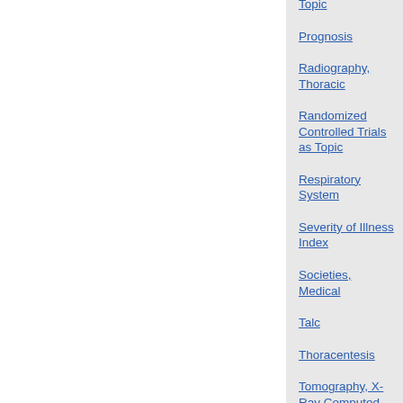Topic
Prognosis
Radiography, Thoracic
Randomized Controlled Trials as Topic
Respiratory System
Severity of Illness Index
Societies, Medical
Talc
Thoracentesis
Tomography, X-Ray Computed
Treatment Outcome